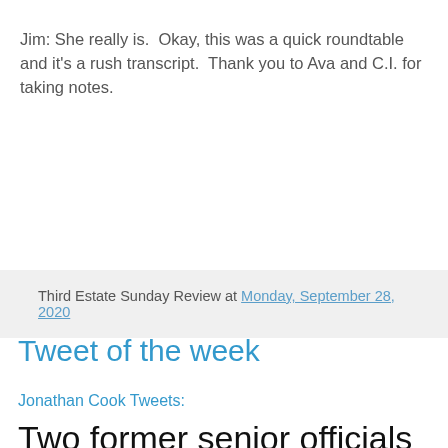Jim: She really is.  Okay, this was a quick roundtable and it's a rush transcript.  Thank you to Ava and C.I. for taking notes.
Third Estate Sunday Review at Monday, September 28, 2020
Tweet of the week
Jonathan Cook Tweets:
Two former senior officials of the